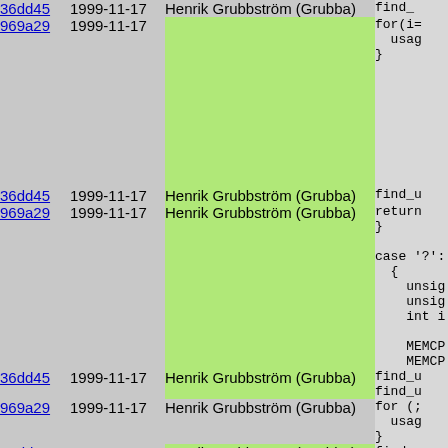| hash | date | author | code |
| --- | --- | --- | --- |
| 36dd45 | 1999-11-17 | Henrik Grubbström (Grubba) | find_ |
| 969a29 | 1999-11-17 | Henrik Grubbström (Grubba) | for(i=
  usag
} |
| 36dd45 | 1999-11-17 | Henrik Grubbström (Grubba) | find_u |
| 969a29 | 1999-11-17 | Henrik Grubbström (Grubba) | return
}

case '?':
{
  unsign
  unsign
  int i

  MEMCPY
  MEMCPY |
| 36dd45 | 1999-11-17 | Henrik Grubbström (Grubba) | find_u
find_u |
| 969a29 | 1999-11-17 | Henrik Grubbström (Grubba) | for (;
  usag
} |
| 36dd45 | 1999-11-17 | Henrik Grubbström (Grubba) | find_u |